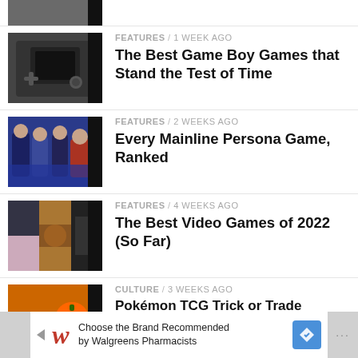[Figure (photo): Partially visible cropped thumbnail at top of page]
FEATURES / 1 week ago
The Best Game Boy Games that Stand the Test of Time
[Figure (photo): Black and white photo of hands holding a Game Boy]
FEATURES / 2 weeks ago
Every Mainline Persona Game, Ranked
[Figure (photo): Anime-style illustration of Persona game characters]
FEATURES / 4 weeks ago
The Best Video Games of 2022 (So Far)
[Figure (photo): Collage of video game screenshots]
CULTURE / 3 weeks ago
Pokémon TCG Trick or Trade BOOster Packs Swap Halloween Candy For Collectibles
[Figure (photo): Pokemon Halloween themed image with Pikachu]
Choose the Brand Recommended by Walgreens Pharmacists